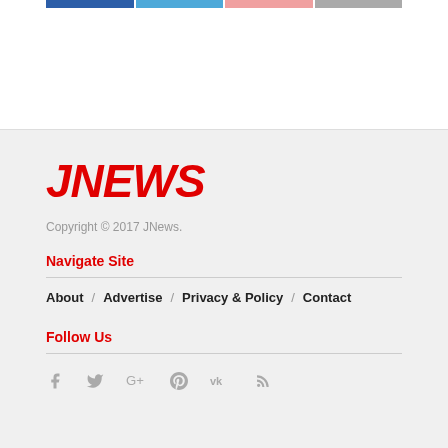[Figure (other): Top color bar strip with four colored segments: dark blue, light blue, pink/salmon, gray]
JNEWS
Copyright © 2017 JNews.
Navigate Site
About / Advertise / Privacy & Policy / Contact
Follow Us
[Figure (other): Social media icons: Facebook, Twitter, Google+, Pinterest, VK, RSS]